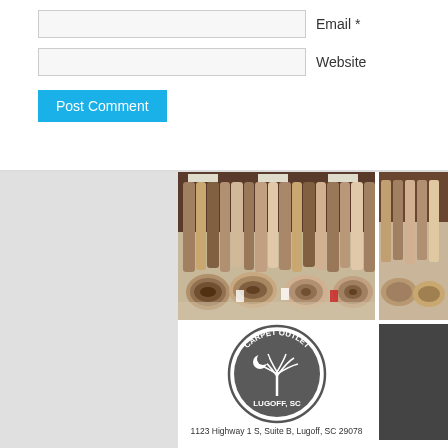Email *
Website
Post Comment
[Figure (photo): Warehouse full of rolled carpets standing upright and lying on the floor, various neutral tones]
[Figure (logo): Carpet Outlet Lugoff SC circular logo with South Carolina palmetto and crescent moon]
1123 Highway 1 S, Suite B, Lugoff, SC 29078